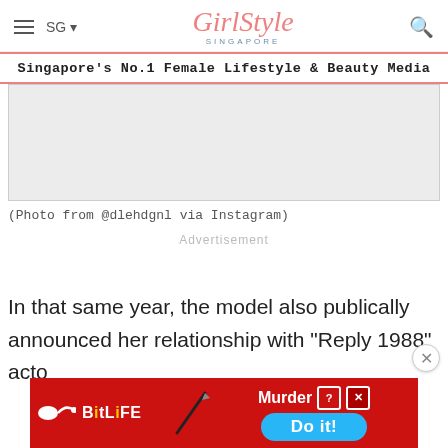GirlStyle SINGAPORE — Singapore's No.1 Female Lifestyle & Beauty Media
[Figure (photo): Gray placeholder box representing a photo from @dlehdgnl via Instagram]
(Photo from @dlehdgnl via Instagram)
Advertisement
In that same year, the model also publically announced her relationship with "Reply 1988" acto
[Figure (infographic): BitLife advertisement banner with Murder Do it! text]